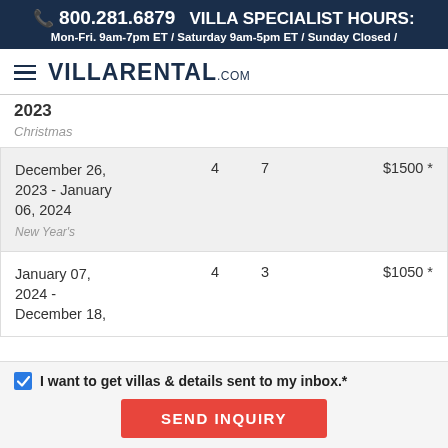📞 800.281.6879  VILLA SPECIALIST HOURS: Mon-Fri. 9am-7pm ET / Saturday 9am-5pm ET / Sunday Closed /
[Figure (logo): VillaRental.com logo with hamburger menu icon]
2023
Christmas
| Date |  |  | Price |
| --- | --- | --- | --- |
| December 26, 2023 - January 06, 2024
New Year's | 4 | 7 | $1500 * |
| January 07, 2024 - December 18, | 4 | 3 | $1050 * |
I want to get villas & details sent to my inbox.*
SEND INQUIRY